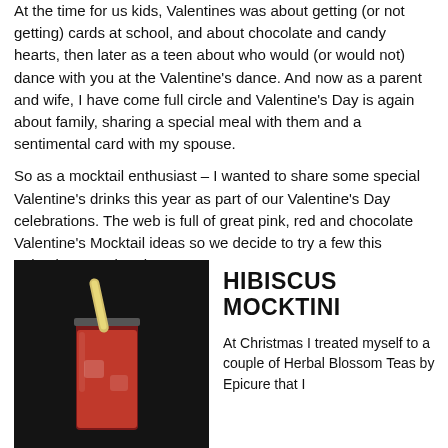At the time for us kids, Valentines was about getting (or not getting) cards at school, and about chocolate and candy hearts, then later as a teen about who would (or would not) dance with you at the Valentine's dance. And now as a parent and wife, I have come full circle and Valentine's Day is again about family, sharing a special meal with them and a sentimental card with my spouse.
So as a mocktail enthusiast – I wanted to share some special Valentine's drinks this year as part of our Valentine's Day celebrations. The web is full of great pink, red and chocolate Valentine's Mocktail ideas so we decide to try a few this Valentines weekend.
[Figure (photo): A dark close-up photo of a red cocktail/mocktail drink in a glass with ice and a lemon/lime wedge garnish on a dark background.]
HIBISCUS MOCKTINI
At Christmas I treated myself to a couple of Herbal Blossom Teas by Epicure that I